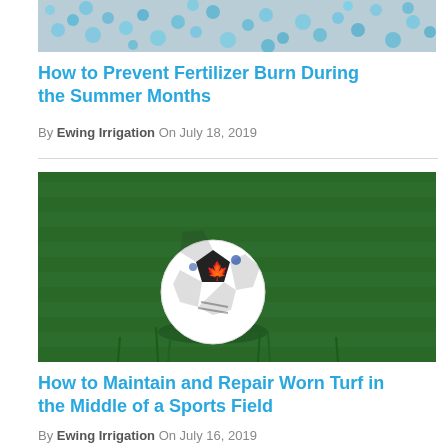[Figure (photo): Close-up photo of blue fertilizer pellets scattered on a surface]
How to Prevent Fertilizer Burn During the Summer Months
By Ewing Irrigation On July 18, 2019
[Figure (photo): Soccer ball resting on green grass turf on a sports field]
How to Maintain and Repair Worn Turf in the Middle of a Sports Field
By Ewing Irrigation On July 16, 2019